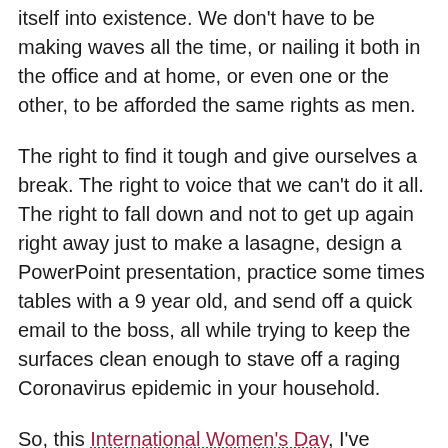itself into existence. We don't have to be making waves all the time, or nailing it both in the office and at home, or even one or the other, to be afforded the same rights as men.
The right to find it tough and give ourselves a break. The right to voice that we can't do it all. The right to fall down and not to get up again right away just to make a lasagne, design a PowerPoint presentation, practice some times tables with a 9 year old, and send off a quick email to the boss, all while trying to keep the surfaces clean enough to stave off a raging Coronavirus epidemic in your household.
So, this International Women's Day, I've stopped. I've taken a moment for myself, to write about how tiring life is right now. How I've had lovely things happen lately, but they've still come with